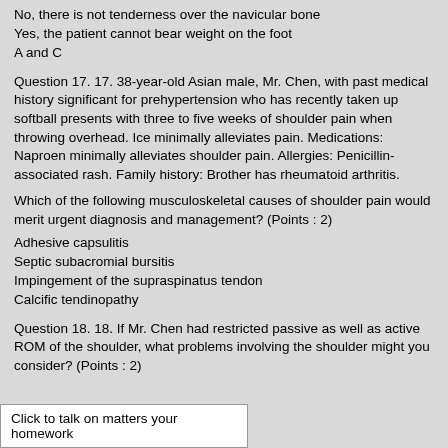No, there is not tenderness over the navicular bone
Yes, the patient cannot bear weight on the foot
A and C
Question 17. 17. 38-year-old Asian male, Mr. Chen, with past medical history significant for prehypertension who has recently taken up softball presents with three to five weeks of shoulder pain when throwing overhead. Ice minimally alleviates pain. Medications: Naproen minimally alleviates shoulder pain. Allergies: Penicillin-associated rash. Family history: Brother has rheumatoid arthritis.
Which of the following musculoskeletal causes of shoulder pain would merit urgent diagnosis and management? (Points : 2)
Adhesive capsulitis
Septic subacromial bursitis
Impingement of the supraspinatus tendon
Calcific tendinopathy
Question 18. 18. If Mr. Chen had restricted passive as well as active ROM of the shoulder, what problems involving the shoulder might you consider? (Points : 2)
Click to talk on matters your homework